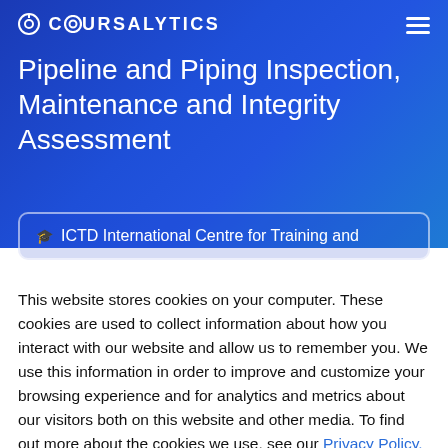COURSALYTICS
Pipeline and Piping Inspection, Maintenance and Integrity Assessment
🎓 ICTD International Centre for Training and
This website stores cookies on your computer. These cookies are used to collect information about how you interact with our website and allow us to remember you. We use this information in order to improve and customize your browsing experience and for analytics and metrics about our visitors both on this website and other media. To find out more about the cookies we use, see our Privacy Policy.
Accept